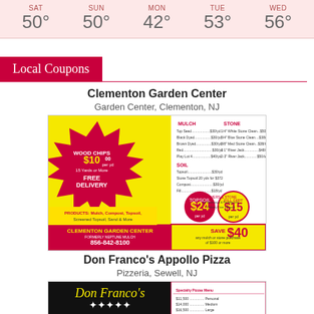| SAT | SUN | MON | TUE | WED |
| --- | --- | --- | --- | --- |
| 50° | 50° | 42° | 53° | 56° |
Local Coupons
Clementon Garden Center
Garden Center, Clementon, NJ
[Figure (photo): Clementon Garden Center coupon advertisement with wood chips $10 per yard, Save $40 on any mulch or stone purchase of $100 or more, 856-842-8100]
Don Franco's Appollo Pizza
Pizzeria, Sewell, NJ
[Figure (photo): Don Franco's Apollo Pizza & Italian Specialty Sandwiches advertisement coupon]